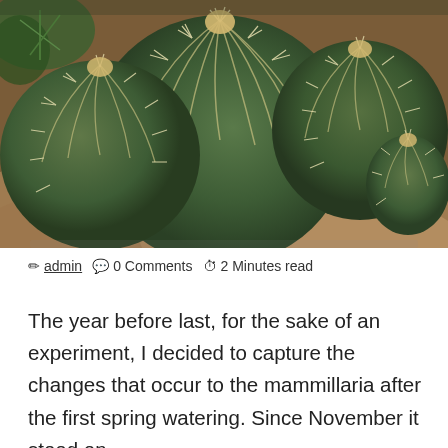[Figure (photo): Close-up photograph of several round barrel cacti (mammillaria) with prominent white spines arranged in radial patterns, viewed from above, set against sandy/rocky ground]
✏ admin 🗨 0 Comments 🕐 2 Minutes read
The year before last, for the sake of an experiment, I decided to capture the changes that occur to the mammillaria after the first spring watering. Since November it stood on